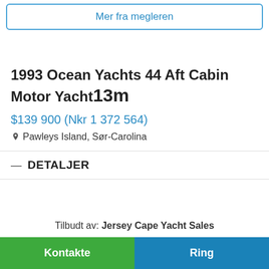Mer fra megleren
1993 Ocean Yachts 44 Aft Cabin Motor Yacht 13m
$139 900 (Nkr 1 372 564)
Pawleys Island, Sør-Carolina
DETALJER
Tilbudt av: Jersey Cape Yacht Sales
Kontakte
Ring